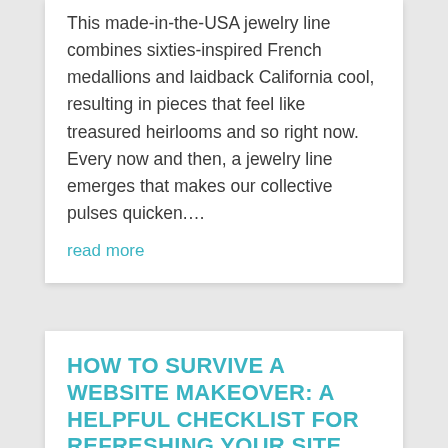This made-in-the-USA jewelry line combines sixties-inspired French medallions and laidback California cool, resulting in pieces that feel like treasured heirlooms and so right now. Every now and then, a jewelry line emerges that makes our collective pulses quicken.…
read more
HOW TO SURVIVE A WEBSITE MAKEOVER: A HELPFUL CHECKLIST FOR REFRESHING YOUR SITE
Jan 17, 2020